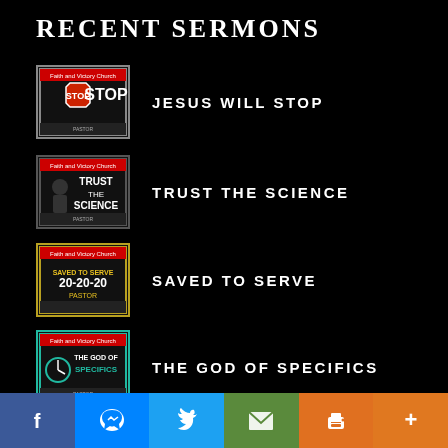RECENT SERMONS
JESUS WILL STOP
TRUST THE SCIENCE
SAVED TO SERVE
THE GOD OF SPECIFICS
YOU ARE CALLED